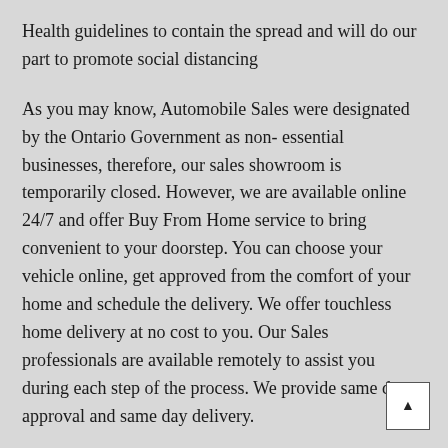Health guidelines to contain the spread and will do our part to promote social distancing
As you may know, Automobile Sales were designated by the Ontario Government as non- essential businesses, therefore, our sales showroom is temporarily closed. However, we are available online 24/7 and offer Buy From Home service to bring convenient to your doorstep. You can choose your vehicle online, get approved from the comfort of your home and schedule the delivery. We offer touchless home delivery at no cost to you. Our Sales professionals are available remotely to assist you during each step of the process. We provide same day approval and same day delivery.
We hope these new measures and services can help alleviate some of the stress and burden during this time. Our hearts and thoughts go out to the people